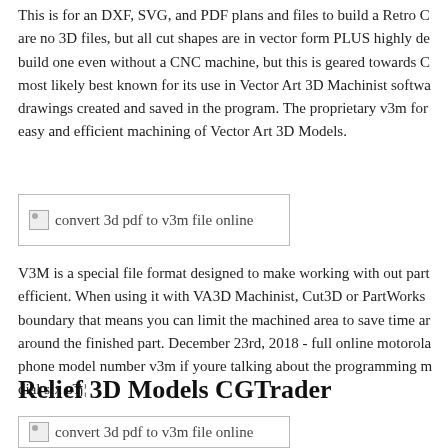This is for an DXF, SVG, and PDF plans and files to build a Retro C are no 3D files, but all cut shapes are in vector form PLUS highly de build one even without a CNC machine, but this is geared towards C most likely best known for its use in Vector Art 3D Machinist softwa drawings created and saved in the program. The proprietary v3m for easy and efficient machining of Vector Art 3D Models.
[Figure (other): Broken image placeholder with text 'convert 3d pdf to v3m file online']
V3M is a special file format designed to make working with out part efficient. When using it with VA3D Machinist, Cut3D or PartWorks boundary that means you can limit the machined area to save time ar around the finished part. December 23rd, 2018 - full online motorola phone model number v3m if youre talking about the programming m dial six вЂ¦
Relief 3D Models CGTrader
[Figure (other): Broken image placeholder with text 'convert 3d pdf to v3m file online']